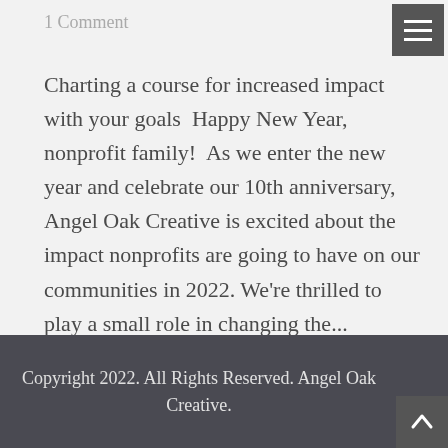1 Comment
Charting a course for increased impact with your goals  Happy New Year, nonprofit family!  As we enter the new year and celebrate our 10th anniversary, Angel Oak Creative is excited about the impact nonprofits are going to have on our communities in 2022. We're thrilled to play a small role in changing the...
Copyright 2022. All Rights Reserved. Angel Oak Creative.